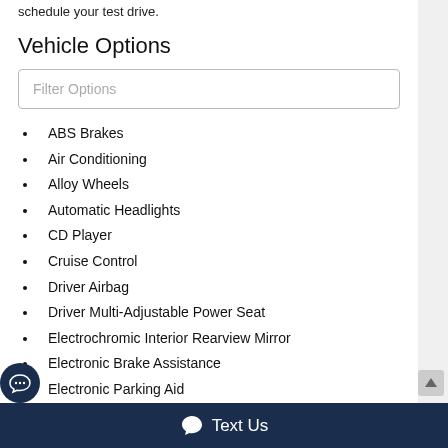schedule your test drive.
Vehicle Options
Filter Options
ABS Brakes
Air Conditioning
Alloy Wheels
Automatic Headlights
CD Player
Cruise Control
Driver Airbag
Driver Multi-Adjustable Power Seat
Electrochromic Interior Rearview Mirror
Electronic Brake Assistance
Electronic Parking Aid
Text Us